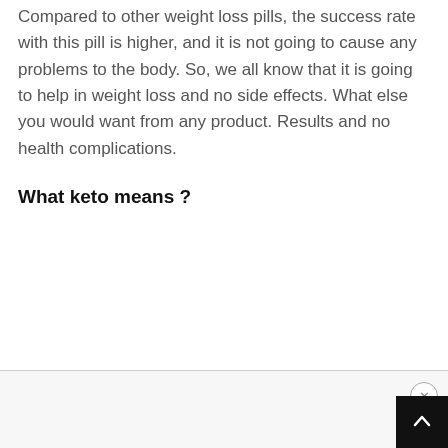Compared to other weight loss pills, the success rate with this pill is higher, and it is not going to cause any problems to the body. So, we all know that it is going to help in weight loss and no side effects. What else you would want from any product. Results and no health complications.
What keto means ?